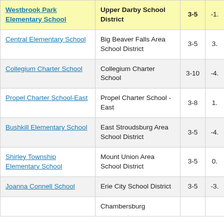| School | District | Grades | Value |
| --- | --- | --- | --- |
| Westbrook Park Elementary School | Upper Darby School District | 3-5 | -1. |
| Central Elementary School | Big Beaver Falls Area School District | 3-5 | 3. |
| Collegium Charter School | Collegium Charter School | 3-10 | -4. |
| Propel Charter School-East | Propel Charter School - East | 3-8 | 1. |
| Bushkill Elementary School | East Stroudsburg Area School District | 3-5 | -4. |
| Shirley Township Elementary School | Mount Union Area School District | 3-5 | 0. |
| Joanna Connell School | Erie City School District | 3-5 | -3. |
| (New Franklin...) | Chambersburg |  |  |